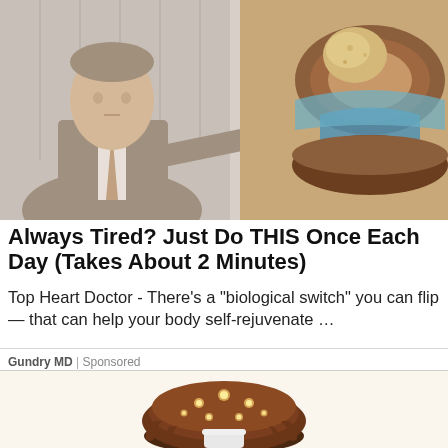[Figure (photo): Advertisement image: a doctor in a suit pointing at a cross-section anatomical model showing layers of tissue, brown and blue tones]
Always Tired? Just Do THIS Once Each Day (Takes About 2 Minutes)
Top Heart Doctor - There’s a “biological switch” you can flip — that can help your body self-rejuvenate …
Gundry MD | Sponsored
[Figure (illustration): Illustration of a chocolate-glazed donut or cake with glowing spots, viewed from above, on a cream/beige background]